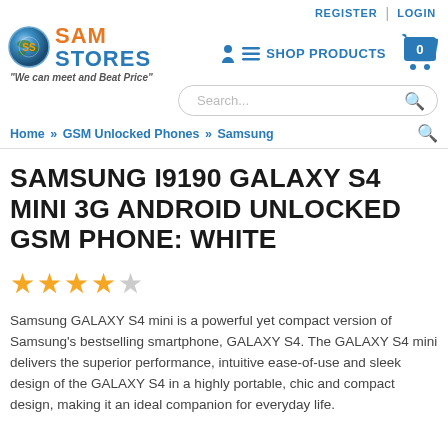REGISTER | LOGIN
[Figure (logo): SamStores logo with globe icon, orange SAM and blue STORES text, tagline: We can meet and Beat Price]
SHOP PRODUCTS (cart icon with 0)
Search...
Home » GSM Unlocked Phones » Samsung
SAMSUNG I9190 GALAXY S4 MINI 3G ANDROID UNLOCKED GSM PHONE: WHITE
[Figure (other): 4 filled star rating and 1 empty star, 4 out of 5 stars]
Samsung GALAXY S4 mini is a powerful yet compact version of Samsung's bestselling smartphone, GALAXY S4. The GALAXY S4 mini delivers the superior performance, intuitive ease-of-use and sleek design of the GALAXY S4 in a highly portable, chic and compact design, making it an ideal companion for everyday life.